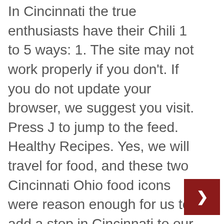In Cincinnati the true enthusiasts have their Chili 1 to 5 ways: 1. The site may not work properly if you don't. If you do not update your browser, we suggest you visit. Press J to jump to the feed. Healthy Recipes. Yes, we will travel for food, and these two Cincinnati Ohio food icons were reason enough for us to add a stop in Cincinnati to our US road trip. Saved by Jean-Ann Towery Gilliland. Saved by Jean-Ann Towery Gilliland. "Five Way" - Chili, Spaghetti, Cheddar Cheese, Onions and Kidney … The Lights Fest is an experience where thousands of friends and families gather to listen to live music, fill up on yummy food, and light up life by sharing personal wishes, dreams and goals. ) "Cacio e Pepe"